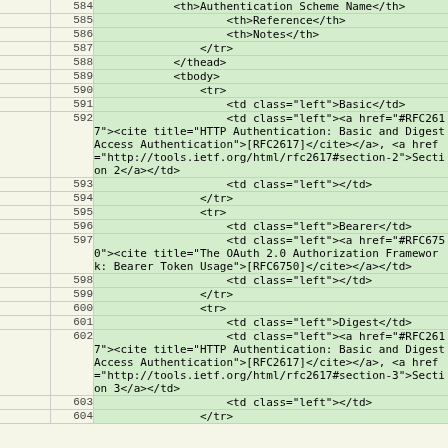| annotation | line | code |
| --- | --- | --- |
|  | 584 | <th>Authentication Scheme Name</th> |
|  | 585 |                     <th>Reference</th> |
|  | 586 |                     <th>Notes</th> |
|  | 587 |                 </tr> |
|  | 588 |             </thead> |
|  | 589 |             <tbody> |
|  | 590 |                 <tr> |
|  | 591 |                     <td class="left">Basic</td> |
|  | 592 |                     <td class="left"><a href="#RFC2617"><cite title="HTTP Authentication: Basic and Digest Access Authentication">[RFC2617]</cite></a>, <a href="http://tools.ietf.org/html/rfc2617#section-2">Section 2</a></td> |
|  | 593 |                     <td class="left"></td> |
|  | 594 |                 </tr> |
|  | 595 |                 <tr> |
|  | 596 |                     <td class="left">Bearer</td> |
|  | 597 |                     <td class="left"><a href="#RFC6750"><cite title="The OAuth 2.0 Authorization Framework: Bearer Token Usage">[RFC6750]</cite></a></td> |
|  | 598 |                     <td class="left"></td> |
|  | 599 |                 </tr> |
|  | 600 |                 <tr> |
|  | 601 |                     <td class="left">Digest</td> |
|  | 602 |                     <td class="left"><a href="#RFC2617"><cite title="HTTP Authentication: Basic and Digest Access Authentication">[RFC2617]</cite></a>, <a href="http://tools.ietf.org/html/rfc2617#section-3">Section 3</a></td> |
|  | 603 |                     <td class="left"></td> |
|  | 604 |                 </tr> |